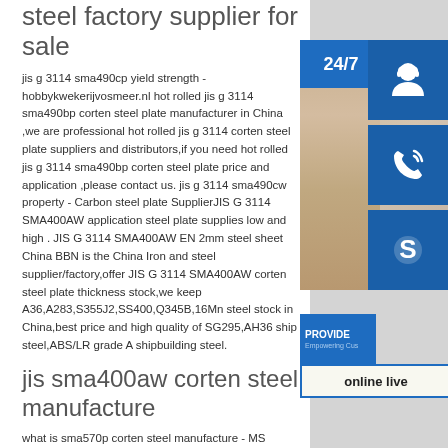steel factory supplier for sale
jis g 3114 sma490cp yield strength - hobbykwekerijvosmeer.nl hot rolled jis g 3114 sma490bp corten steel plate manufacturer in China ,we are professional hot rolled jis g 3114 corten steel plate suppliers and distributors,if you need hot rolled jis g 3114 sma490bp corten steel plate price and application ,please contact us. jis g 3114 sma490cw property - Carbon steel plate SupplierJIS G 3114 SMA400AW application steel plate supplies low and high . JIS G 3114 SMA400AW EN 2mm steel sheet China BBN is the China Iron and steel supplier/factory,offer JIS G 3114 SMA400AW corten steel plate thickness stock,we keep A36,A283,S355J2,SS400,Q345B,16Mn steel stock in China,best price and high quality of SG295,AH36 ship steel,ABS/LR grade A shipbuilding steel.
[Figure (photo): Customer service representative with headset, with blue 24/7 banner and icons for phone and Skype/chat, and online live button]
jis sma400aw corten steel manufacture
what is sma570p corten steel manufacture - MS